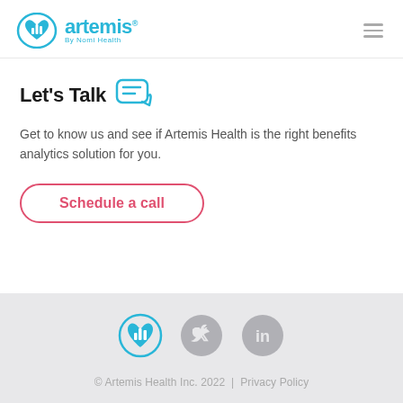artemis By Nomi Health
Let's Talk
Get to know us and see if Artemis Health is the right benefits analytics solution for you.
Schedule a call
[Figure (logo): Artemis by Nomi Health logo icon in footer]
[Figure (logo): Twitter social icon (gray circle)]
[Figure (logo): LinkedIn social icon (gray circle)]
© Artemis Health Inc. 2022 | Privacy Policy